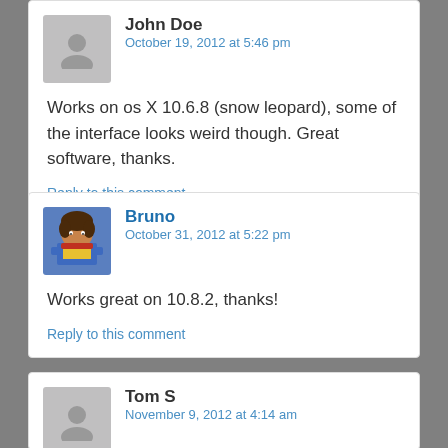John Doe
October 19, 2012 at 5:46 pm
Works on os X 10.6.8 (snow leopard), some of the interface looks weird though. Great software, thanks.
Reply to this comment
Bruno
October 31, 2012 at 5:22 pm
Works great on 10.8.2, thanks!
Reply to this comment
Tom S
November 9, 2012 at 4:14 am
Working fine on 10.8.2, very first try. Great work!